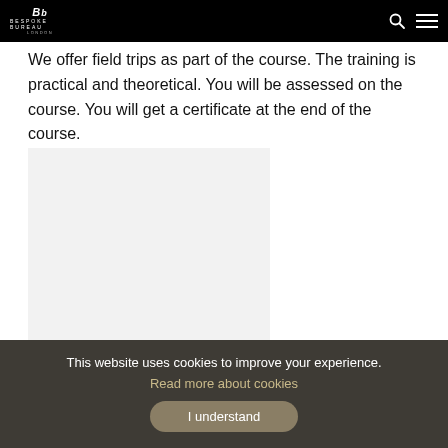Bespoke Bureau London
We offer field trips as part of the course. The training is practical and theoretical. You will be assessed on the course. You will get a certificate at the end of the course.
[Figure (photo): A placeholder light grey rectangular image area]
This website uses cookies to improve your experience. Read more about cookies
I understand